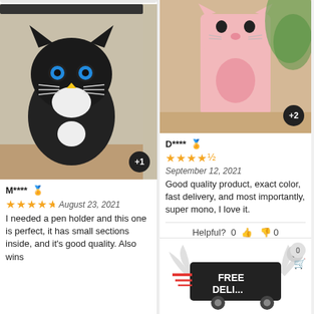[Figure (photo): Black and white cat face pencil case/pen holder on wooden surface]
M**** (verified) ★★★★½ August 23, 2021
I needed a pen holder and this one is perfect, it has small sections inside, and it's good quality. Also wins
[Figure (photo): Pink cat-shaped pencil case standing upright]
D**** (verified) ★★★★½ September 12, 2021
Good quality product, exact color, fast delivery, and most importantly, super mono, I love it.
Helpful? 0 👍 👎 0
[Figure (infographic): FREE DELIVERY banner with winged package icon and shopping cart badge showing 0]